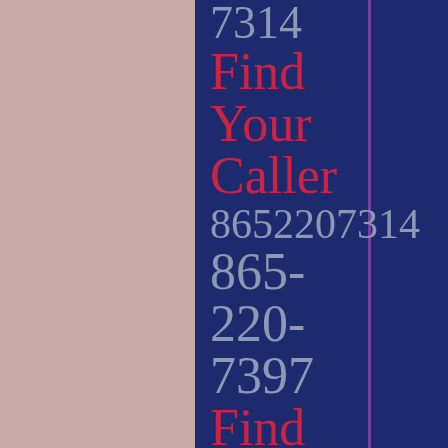7314 Find Your Caller 8652207314 865-220-7397 Find Your Caller 8652207397 865-220-7386 Find Your...
865-220-7386